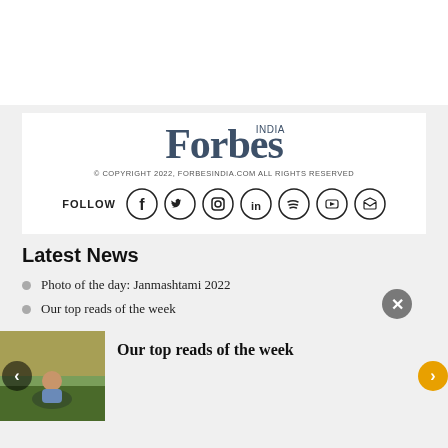[Figure (logo): Forbes India logo with INDIA superscript, copyright text and social media icons (Facebook, Twitter, Instagram, LinkedIn, Spotify, YouTube, Email/Newsletter)]
Latest News
Photo of the day: Janmashtami 2022
Our top reads of the week
[Figure (photo): Woman sitting outdoors reading a book]
Our top reads of the week